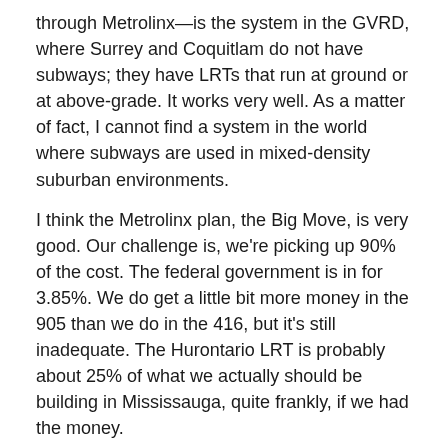through Metrolinx—is the system in the GVRD, where Surrey and Coquitlam do not have subways; they have LRTs that run at ground or at above-grade. It works very well. As a matter of fact, I cannot find a system in the world where subways are used in mixed-density suburban environments.
I think the Metrolinx plan, the Big Move, is very good. Our challenge is, we're picking up 90% of the cost. The federal government is in for 3.85%. We do get a little bit more money in the 905 than we do in the 416, but it's still inadequate. The Hurontario LRT is probably about 25% of what we actually should be building in Mississauga, quite frankly, if we had the money.
Mrs. Amrit Mangat: Thank you.
The Chair (Mr. Michael Prue): Mr. Colle.
Mr. Mike Colle: Some of us on this committee were on the aggregate review at committee. We went across the province. We went up to Manitoba, did a lot. We...